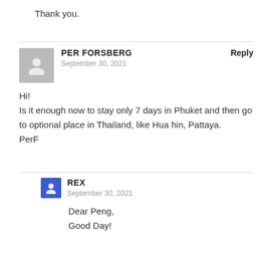Thank you.
PER FORSBERG
September 30, 2021
Hi!
Is it enough now to stay only 7 days in Phuket and then go to optional place in Thailand, like Hua hin, Pattaya.
PerF
REX
September 30, 2021
Dear Peng,
Good Day!